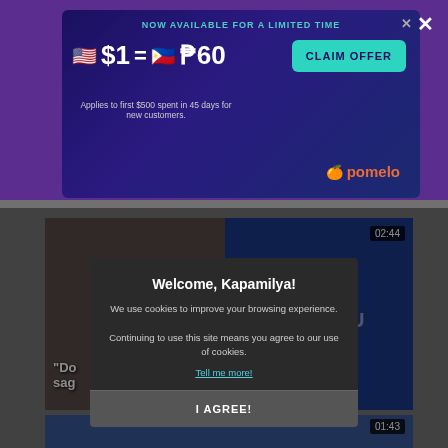[Figure (screenshot): Advertisement banner for Pomelo money transfer service showing $1 = ₱60 exchange rate with Claim Offer button, on purple background]
NOW AVAILABLE FOR A LIMITED TIME
$1 = ₱60
CLAIM OFFER
Applies to first $500 spent in 45 days for new customers.
pomelo
[Figure (screenshot): Video thumbnail showing a woman on the left and a TV show 'Tonight with Boy Abunda' on the right with timestamp 02:44]
02:44
"Do sag
[Figure (screenshot): Cookie consent modal dialog over a media website with text 'Welcome, Kapamilya!' and cookie policy information]
Welcome, Kapamilya!
We use cookies to improve your browsing experience.
Continuing to use this site means you agree to our use of cookies.
Tell me more!
I AGREE!
01:43
[Figure (screenshot): Video thumbnail showing two men on a blue set, bottom portion of page]